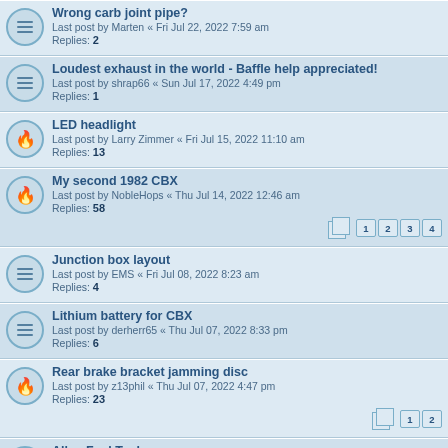Wrong carb joint pipe? — Last post by Marten « Fri Jul 22, 2022 7:59 am — Replies: 2
Loudest exhaust in the world - Baffle help appreciated! — Last post by shrap66 « Sun Jul 17, 2022 4:49 pm — Replies: 1
LED headlight — Last post by Larry Zimmer « Fri Jul 15, 2022 11:10 am — Replies: 13
My second 1982 CBX — Last post by NobleHops « Thu Jul 14, 2022 12:46 am — Replies: 58 — Pages: 1 2 3 4
Junction box layout — Last post by EMS « Fri Jul 08, 2022 8:23 am — Replies: 4
Lithium battery for CBX — Last post by derherr65 « Thu Jul 07, 2022 8:33 pm — Replies: 6
Rear brake bracket jamming disc — Last post by z13phil « Thu Jul 07, 2022 4:47 pm — Replies: 23 — Pages: 1 2
Alloy Fuel Tanks — Last post by Warwick Biggs « Tue Jul 05, 2022 8:26 pm — Replies: 4
NOS CBX Helmet — Last post by daves79x « Tue Jun 28, 2022 7:45 am — Replies: 3